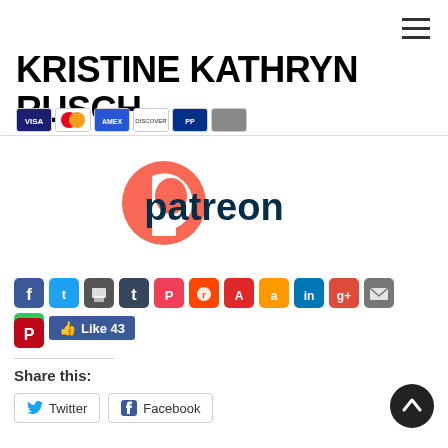[Figure (logo): Hamburger menu icon (three horizontal lines)]
KRISTINE KATHRYN RUSCH
[Figure (logo): Payment method icons: Visa, Mastercard, Amex, Discover, PayPal, and other cards]
[Figure (logo): Patreon logo with orange circular P icon and dark 'patreon' wordmark]
[Figure (infographic): Row of social sharing icons: Facebook, Twitter, Print, Tumblr, Pocket, Reddit, Flipboard, Amazon, LinkedIn, Google+, Email, Share, Pinterest. Also a Facebook Like button showing 43 likes.]
Share this:
[Figure (infographic): Twitter and Facebook share buttons]
[Figure (other): Back to top button (dark circle with up arrow chevron)]